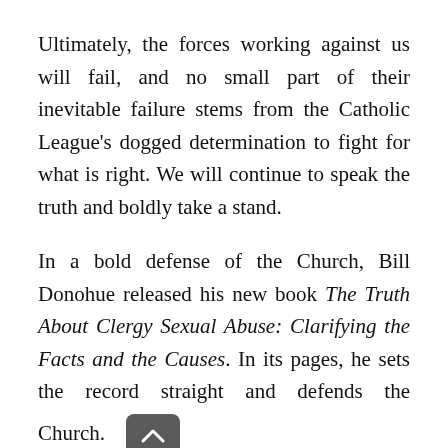Ultimately, the forces working against us will fail, and no small part of their inevitable failure stems from the Catholic League's dogged determination to fight for what is right. We will continue to speak the truth and boldly take a stand.
In a bold defense of the Church, Bill Donohue released his new book The Truth About Clergy Sexual Abuse: Clarifying the Facts and the Causes. In its pages, he sets the record straight and defends the Church.
Additionally, the Catholic League launched a